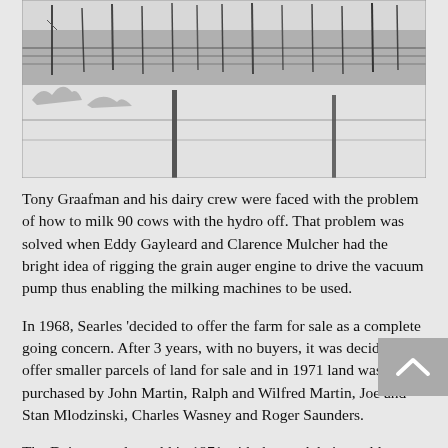[Figure (photo): Black and white winter photograph showing a snowy field with bare trees in the background and fence posts visible. Snow covers the ground and the scene appears to be a rural farm landscape in winter.]
Tony Graafman and his dairy crew were faced with the problem of how to milk 90 cows with the hydro off. That problem was solved when Eddy Gayleard and Clarence Mulcher had the bright idea of rigging the grain auger engine to drive the vacuum pump thus enabling the milking machines to be used.
In 1968, Searles 'decided to offer the farm for sale as a complete going concern. After 3 years, with no buyers, it was decided to offer smaller parcels of land for sale and in 1971 land was purchased by John Martin, Ralph and Wilfred Martin, Joe and Stan Mlodzinski, Charles Wasney and Roger Saunders.
The Dairy was also sold in 1971 with the stock being sold